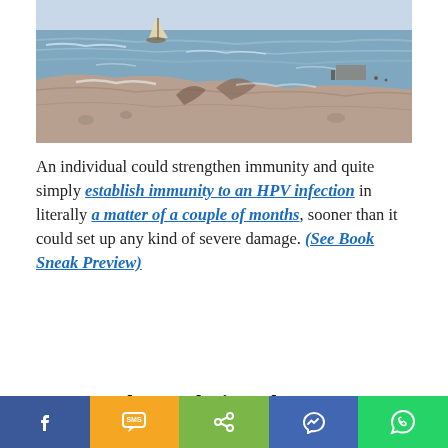[Figure (illustration): Impressionist painting of a coastal seascape with a sailboat on choppy water and rocky shoreline, people visible in the distance.]
An individual could strengthen immunity and quite simply establish immunity to an HPV infection in literally a matter of a couple of months, sooner than it could set up any kind of severe damage. (See Book Sneak Preview)
Low Grade Dysplasia Colon
Facebook | SMS | Share | Messenger | WhatsApp